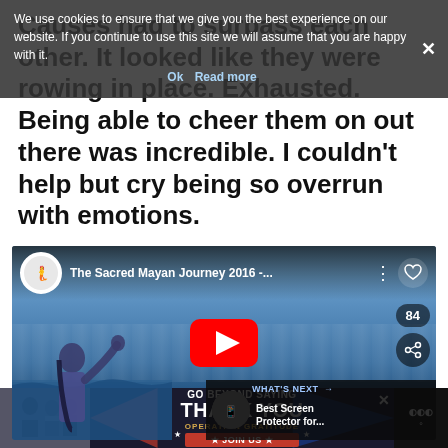Causes had to surpass each other. It looked like they were rowing in place. Exhausted. Being able to cheer them on out there was incredible. I couldn't help but cry being so overrun with emotions.
We use cookies to ensure that we give you the best experience on our website. If you continue to use this site we will assume that you are happy with it.
[Figure (screenshot): YouTube embedded video player showing 'The Sacred Mayan Journey 2016 -...' with a play button, a figure waving over ocean water. Shows 84 likes and share button. What's Next panel shows 'Best Screen Protector for...']
[Figure (screenshot): Advertisement banner: GO BEYOND SAYING THANK YOU - Operation Gratitude JOIN US. Left side shows people in military context. Right side shows weather app icon.]